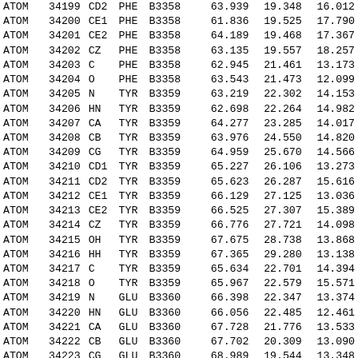| ATOM | serial | name | resName | chainSeq |  | x | y | z |
| --- | --- | --- | --- | --- | --- | --- | --- | --- |
| ATOM | 34199 | CD2 | PHE | B3358 |  | 63.939 | 19.348 | 16.012 |
| ATOM | 34200 | CE1 | PHE | B3358 |  | 61.836 | 19.525 | 17.790 |
| ATOM | 34201 | CE2 | PHE | B3358 |  | 64.189 | 19.468 | 17.367 |
| ATOM | 34202 | CZ | PHE | B3358 |  | 63.135 | 19.557 | 18.257 |
| ATOM | 34203 | C | PHE | B3358 |  | 62.945 | 21.461 | 13.173 |
| ATOM | 34204 | O | PHE | B3358 |  | 63.543 | 21.473 | 12.099 |
| ATOM | 34205 | N | TYR | B3359 |  | 63.219 | 22.302 | 14.153 |
| ATOM | 34206 | HN | TYR | B3359 |  | 62.698 | 22.264 | 14.982 |
| ATOM | 34207 | CA | TYR | B3359 |  | 64.277 | 23.285 | 14.017 |
| ATOM | 34208 | CB | TYR | B3359 |  | 63.976 | 24.550 | 14.820 |
| ATOM | 34209 | CG | TYR | B3359 |  | 64.959 | 25.670 | 14.566 |
| ATOM | 34210 | CD1 | TYR | B3359 |  | 65.227 | 26.106 | 13.273 |
| ATOM | 34211 | CD2 | TYR | B3359 |  | 65.623 | 26.287 | 15.616 |
| ATOM | 34212 | CE1 | TYR | B3359 |  | 66.129 | 27.125 | 13.036 |
| ATOM | 34213 | CE2 | TYR | B3359 |  | 66.525 | 27.307 | 15.389 |
| ATOM | 34214 | CZ | TYR | B3359 |  | 66.776 | 27.721 | 14.098 |
| ATOM | 34215 | OH | TYR | B3359 |  | 67.675 | 28.738 | 13.868 |
| ATOM | 34216 | HH | TYR | B3359 |  | 67.365 | 29.280 | 13.138 |
| ATOM | 34217 | C | TYR | B3359 |  | 65.634 | 22.701 | 14.394 |
| ATOM | 34218 | O | TYR | B3359 |  | 65.967 | 22.579 | 15.571 |
| ATOM | 34219 | N | GLU | B3360 |  | 66.398 | 22.347 | 13.374 |
| ATOM | 34220 | HN | GLU | B3360 |  | 66.056 | 22.485 | 12.461 |
| ATOM | 34221 | CA | GLU | B3360 |  | 67.728 | 21.776 | 13.533 |
| ATOM | 34222 | CB | GLU | B3360 |  | 67.702 | 20.309 | 13.090 |
| ATOM | 34223 | CG | GLU | B3360 |  | 68.989 | 19.544 | 13.348 |
| ATOM | 34224 | CD | GLU | B3360 |  | 69.242 | 19.307 | 14.821 |
| ATOM | 34225 | OE1 | GLU | B3360 |  | 68.277 | 19.386 | 15.608 |
| ATOM | 34226 | OE2 | GLU | B3360 |  | 70.403 | 19.030 | 15.184 |
| ATOM | 34227 | C | GLU | B3360 |  | 68.699 | 22.568 | 12.655 |
| ATOM | 34228 | O | GLU | B3360 |  | 68.988 | 22.178 | 11.523 |